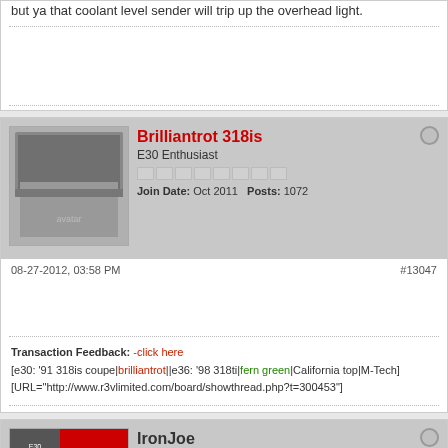but ya that coolant level sender will trip up the overhead light.
Brilliantrot 318is
E30 Enthusiast
Join Date: Oct 2011   Posts: 1072
08-27-2012, 03:58 PM
#13047
Transaction Feedback: -click here
[e30: '91 318is coupe|brilliantrot||e36: '98 318ti|fern green|California top|M-Tech]
[URL="http://www.r3vlimited.com/board/showthread.php?t=300453"]
IronJoe
R3VLimited